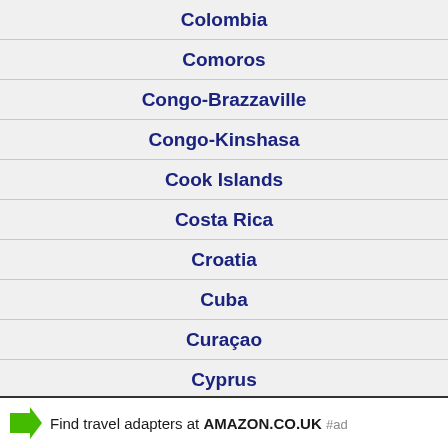Colombia
Comoros
Congo-Brazzaville
Congo-Kinshasa
Cook Islands
Costa Rica
Croatia
Cuba
Curaçao
Cyprus
Czech Republic
Find travel adapters at AMAZON.CO.UK #ad